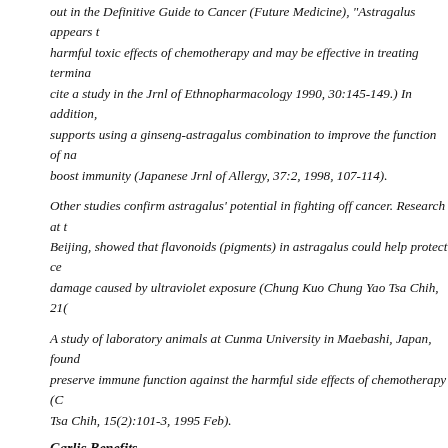out in the Definitive Guide to Cancer (Future Medicine), "Astragalus appears to reduce the harmful toxic effects of chemotherapy and may be effective in treating terminal cancer... cite a study in the Jrnl of Ethnopharmacology 1990, 30:145-149.) In addition, research supports using a ginseng-astragalus combination to improve the function of natural killer cells to boost immunity (Japanese Jrnl of Allergy, 37:2, 1998, 107-114).
Other studies confirm astragalus' potential in fighting off cancer. Research at the University of Beijing, showed that flavonoids (pigments) in astragalus could help protect cells from DNA damage caused by ultraviolet exposure (Chung Kuo Chung Yao Tsa Chih, 21(...)
A study of laboratory animals at Cunma University in Maebashi, Japan, found astragalus could preserve immune function against the harmful side effects of chemotherapy (Chung Kuo Chung Yao Tsa Chih, 15(2):101-3, 1995 Feb).
Garlic Benefits
Like a flame attracting moths, garlic bulbs have irresistibly drawn the attention of researchers. A study at Aarhus University, Denmark, found that skin cells in laboratory dishes treated with garlic lived longer, healthier lives than untreated cells (Jrnl Ethnopharm, 1994. 43:125-13...
Meanwhile, a long list of research demonstrates that garlic's phytochemicals may reduce the carcinogenicity of the pollutants and chemicals that assault us daily. A study in the American Journal of Chinese Medicine showed that garlic helped slow tumors in lab animals. Another study in the Journal of Nutrition found that compounds in garlic could "suppress...